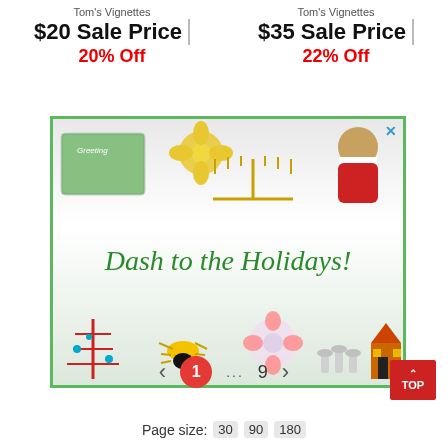Tom's Vignettes
$20 Sale Price | 20% Off
Tom's Vignettes
$35 Sale Price | 22% Off
[Figure (photo): Holiday advertisement banner with decorative items: vintage Christmas postcard, gold flower brooch, menorah, Santa bear, red coral Christmas tree brooch, spider brooch, flower brooch, silver goblets set, Halloween house ornament. Text reads 'Dash to the Holidays!']
< 1 ... 9 >
TOP
Page size: 30 90 180